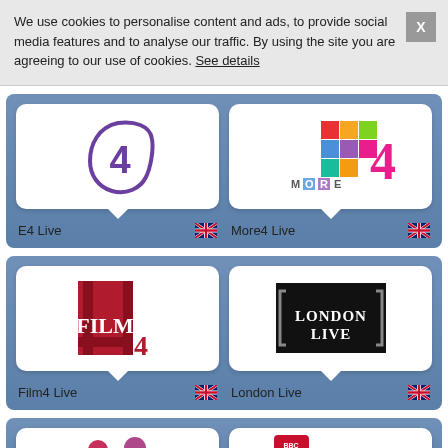We use cookies to personalise content and ads, to provide social media features and to analyse our traffic. By using the site you are agreeing to our use of cookies. See details
[Figure (logo): E4 channel logo - purple stylized numeral 4]
E4 Live
[Figure (logo): More4 channel logo - colorful grid of squares spelling MORE with number 4]
More4 Live
[Figure (logo): Film4 channel logo - red and dark red rectangles with FILM text]
Film4 Live
[Figure (logo): London Live channel logo - white text on black background]
London Live
[Figure (logo): Partial ITV2 logo visible at bottom]
[Figure (logo): BBC One logo partial visible at bottom right]